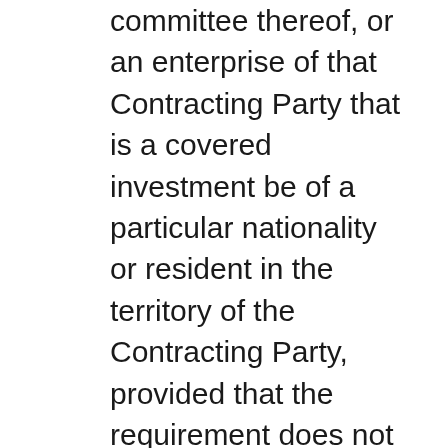committee thereof, or an enterprise of that Contracting Party that is a covered investment be of a particular nationality or resident in the territory of the Contracting Party, provided that the requirement does not materially impair the ability of the investor to exercise control over its investment.
3. Subject to its laws, regulations and policies relating to the entry and sojourn of non-citizens, a Contracting Party shall permit natural persons who have the citizenship or status of permanent resident of the other Contracting Party